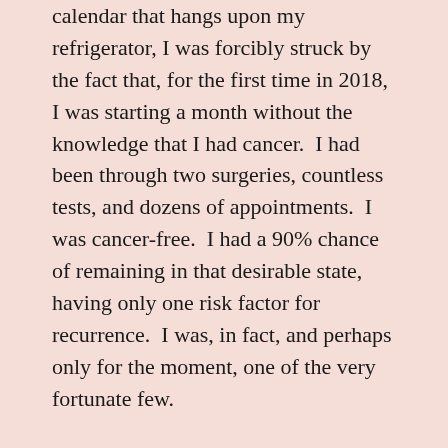calendar that hangs upon my refrigerator, I was forcibly struck by the fact that, for the first time in 2018, I was starting a month without the knowledge that I had cancer.  I had been through two surgeries, countless tests, and dozens of appointments.  I was cancer-free.  I had a 90% chance of remaining in that desirable state, having only one risk factor for recurrence.  I was, in fact, and perhaps only for the moment, one of the very fortunate few.
In life Before, cancer was a vague and troubling possibility, one which had brought sorrow to me many times, as I watched friends and family succumb to the evil. It was a fate  which I hoped to escape, but to which I gave, if you will, lip